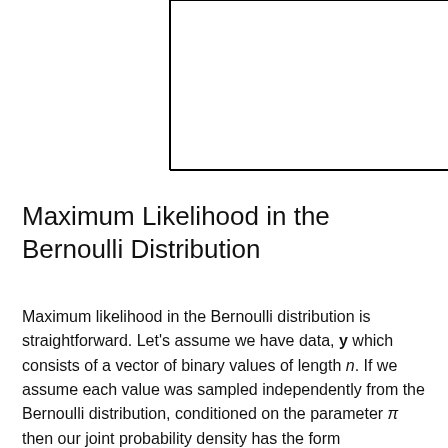[Figure (other): Partial diagram showing a rectangle with solid left and bottom borders and a dotted vertical line on the right side, cropped at the top of the page.]
Maximum Likelihood in the Bernoulli Distribution
Maximum likelihood in the Bernoulli distribution is straightforward. Let's assume we have data, y which consists of a vector of binary values of length n. If we assume each value was sampled independently from the Bernoulli distribution, conditioned on the parameter π then our joint probability density has the form